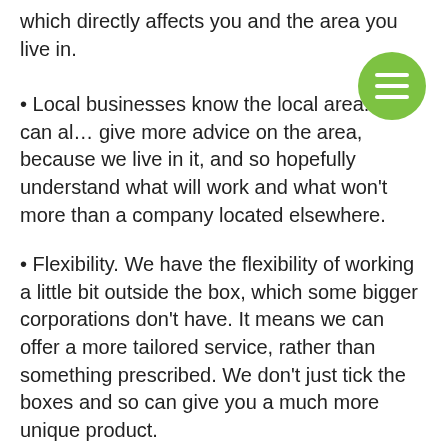which directly affects you and the area you live in.
• Local businesses know the local area. We can also give more advice on the area, because we live in it, and so hopefully understand what will work and what won't more than a company located elsewhere.
• Flexibility. We have the flexibility of working a little bit outside the box, which some bigger corporations don't have. It means we can offer a more tailored service, rather than something prescribed. We don't just tick the boxes and so can give you a much more unique product.
• Loyal. We appreciate the business we are given, and remember it. We always try to go that extra mile for our neighbours in the town too.